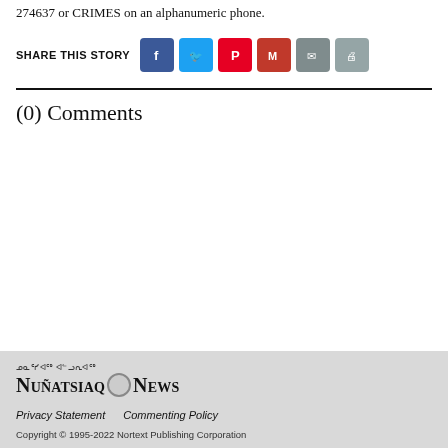274637 or CRIMES on an alphanumeric phone.
SHARE THIS STORY
(0) Comments
[Figure (logo): Nunatsiaq News logo with Inuktitut syllabics above]
Privacy Statement   Commenting Policy
Copyright © 1995-2022 Nortext Publishing Corporation